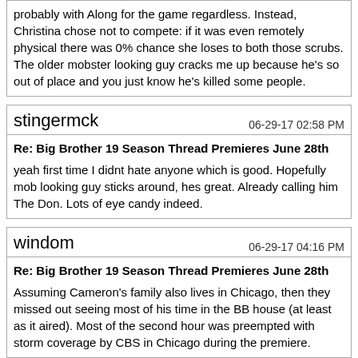probably with Along for the game regardless. Instead, Christina chose not to compete: if it was even remotely physical there was 0% chance she loses to both those scrubs. The older mobster looking guy cracks me up because he's so out of place and you just know he's killed some people.
stingermck  06-29-17 02:58 PM
Re: Big Brother 19 Season Thread Premieres June 28th
yeah first time I didnt hate anyone which is good. Hopefully mob looking guy sticks around, hes great. Already calling him The Don. Lots of eye candy indeed.
windom  06-29-17 04:16 PM
Re: Big Brother 19 Season Thread Premieres June 28th
Assuming Cameron's family also lives in Chicago, then they missed out seeing most of his time in the BB house (at least as it aired). Most of the second hour was preempted with storm coverage by CBS in Chicago during the premiere.
clckworang  06-29-17 04:46 PM
Re: Big Brother 19 Season Thread Premieres June 28th
Holy. You think about Paul?! Who would never change, never that all...